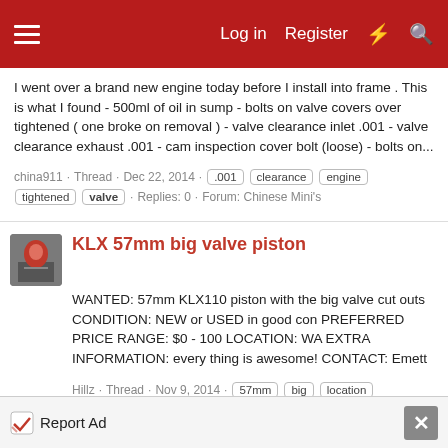Log in  Register
I went over a brand new engine today before I install into frame . This is what I found - 500ml of oil in sump - bolts on valve covers over tightened ( one broke on removal ) - valve clearance inlet .001 - valve clearance exhaust .001 - cam inspection cover bolt (loose) - bolts on...
china911 · Thread · Dec 22, 2014 · .001  clearance  engine  tightened  valve · Replies: 0 · Forum: Chinese Mini's
KLX 57mm big valve piston
WANTED: 57mm KLX110 piston with the big valve cut outs CONDITION: NEW or USED in good con PREFERRED PRICE RANGE: $0 - 100 LOCATION: WA EXTRA INFORMATION: every thing is awesome! CONTACT: Emett
Hillz · Thread · Nov 9, 2014 · 57mm  big  location  piston  valve · Replies: 6 · Forum: Mini Classifieds - For Sale/Wanted
Report Ad